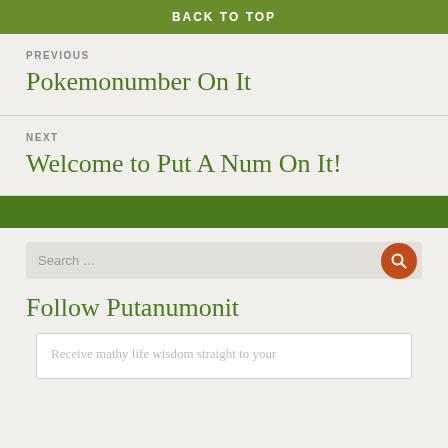BACK TO TOP
PREVIOUS
Pokemonumber On It
NEXT
Welcome to Put A Num On It!
Follow Putanumonit
Receive mathy life wisdom straight to your